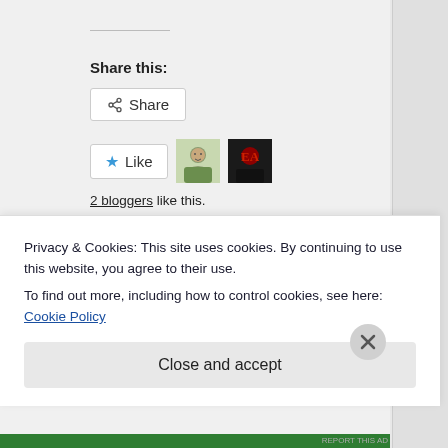REPORT THIS AD
Share this:
Share
Like
2 bloggers like this.
Related
Politics above economics in the energy market hurts consumers
Regulating the Energy market: Not as easy as it looks
Privacy & Cookies: This site uses cookies. By continuing to use this website, you agree to their use.
To find out more, including how to control cookies, see here: Cookie Policy
Close and accept